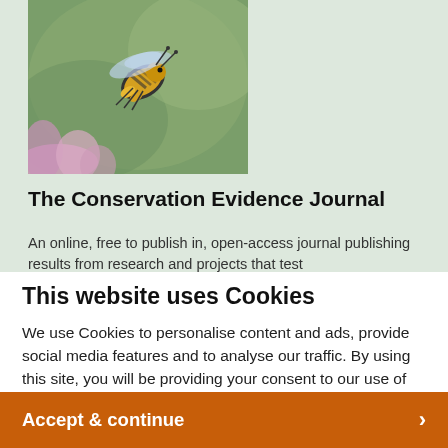[Figure (photo): Close-up photograph of a honey bee in flight near pink/purple flowers, with a blurred green background]
The Conservation Evidence Journal
An online, free to publish in, open-access journal publishing results from research and projects that test
This website uses Cookies
We use Cookies to personalise content and ads, provide social media features and to analyse our traffic. By using this site, you will be providing your consent to our use of Cookies.
Accept & continue